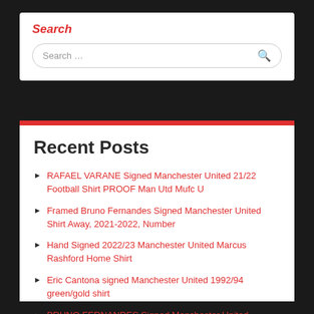Search
Search ...
Recent Posts
RAFAEL VARANE Signed Manchester United 21/22 Football Shirt PROOF Man Utd Mufc U
Framed Bruno Fernandes Signed Manchester United Shirt Away, 2021-2022, Number
Hand Signed 2022/23 Manchester United Marcus Rashford Home Shirt
Eric Cantona signed Manchester United 1992/94 green/gold shirt
BRUNO FERNANDES Signed Manchester United Football Shirt PROOF Man Utd Portugal U